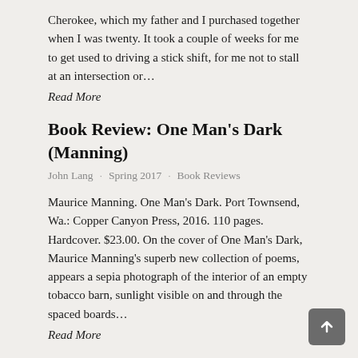Cherokee, which my father and I purchased together when I was twenty. It took a couple of weeks for me to get used to driving a stick shift, for me not to stall at an intersection or…
Read More
Book Review: One Man's Dark (Manning)
John Lang · Spring 2017 · Book Reviews
Maurice Manning. One Man's Dark. Port Townsend, Wa.: Copper Canyon Press, 2016. 110 pages. Hardcover. $23.00. On the cover of One Man's Dark, Maurice Manning's superb new collection of poems, appears a sepia photograph of the interior of an empty tobacco barn, sunlight visible on and through the spaced boards…
Read More
Spring 2017 Editor's Note
Jason Kyle Howard · Spring 2017 · Editor's Note
Earlier this spring, we were invaded by squirrels—a gang of wily creatures that leapt their way to our gutter from a towering walnut tree